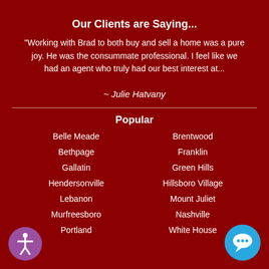Our Clients are Saying...
"Working with Brad to both buy and sell a home was a pure joy. He was the consummate professional. I feel like we had an agent who truly had our best interest at...
~ Julie Hatvany
Popular
Belle Meade
Brentwood
Bethpage
Franklin
Gallatin
Green Hills
Hendersonville
Hillsboro Village
Lebanon
Mount Juliet
Murfreesboro
Nashville
Portland
White House
[Figure (logo): Accessibility icon - purple circle with white person figure]
[Figure (logo): Chat bubble icon - blue circle with white speech bubble]